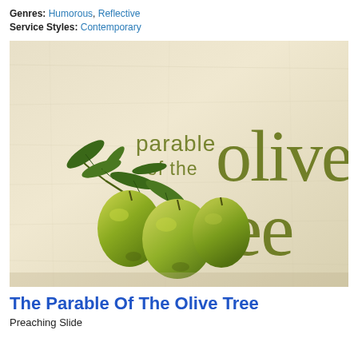Genres: Humorous, Reflective
Service Styles: Contemporary
[Figure (illustration): Illustrated book/presentation cover titled 'parable of the olive tree' with large stylized olive-green text on a parchment/beige textured background, featuring a realistic illustration of green olives with leaves on a branch in the lower-left area.]
The Parable Of The Olive Tree
Preaching Slide